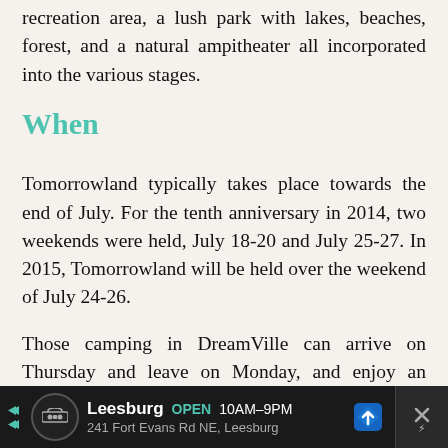recreation area, a lush park with lakes, beaches, forest, and a natural ampitheater all incorporated into the various stages.
When
Tomorrowland typically takes place towards the end of July. For the tenth anniversary in 2014, two weekends were held, July 18-20 and July 25-27. In 2015, Tomorrowland will be held over the weekend of July 24-26.
Those camping in DreamVille can arrive on Thursday and leave on Monday, and enjoy an exclusive pre-party on Thursday night known at The Gathering.
Leesburg OPEN 10AM–9PM 241 Fort Evans Rd NE, Leesburg